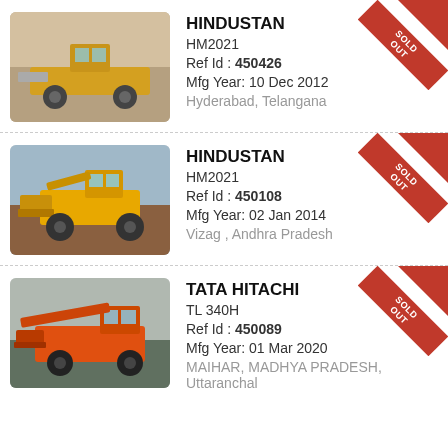HINDUSTAN HM2021 Ref Id : 450426 Mfg Year: 10 Dec 2012 Hyderabad, Telangana [SOLD OUT]
HINDUSTAN HM2021 Ref Id : 450108 Mfg Year: 02 Jan 2014 Vizag , Andhra Pradesh [SOLD OUT]
TATA HITACHI TL 340H Ref Id : 450089 Mfg Year: 01 Mar 2020 MAIHAR, MADHYA PRADESH, Uttaranchal [SOLD OUT]